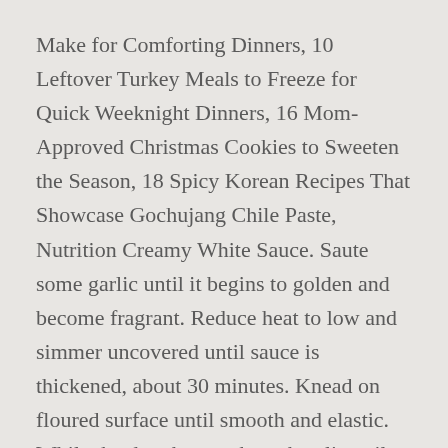Make for Comforting Dinners, 10 Leftover Turkey Meals to Freeze for Quick Weeknight Dinners, 16 Mom-Approved Christmas Cookies to Sweeten the Season, 18 Spicy Korean Recipes That Showcase Gochujang Chile Paste, Nutrition Creamy White Sauce. Saute some garlic until it begins to golden and become fragrant. Reduce heat to low and simmer uncovered until sauce is thickened, about 30 minutes. Knead on floured surface until smooth and elastic. While the dough rests, heat the olive oil over medium heat in the saute pan. You saved Homemade Pizza Sauce with Olive Oil to your. My family is not a huge fan of the red tomato pizza sauce. Thank you! :) I did as